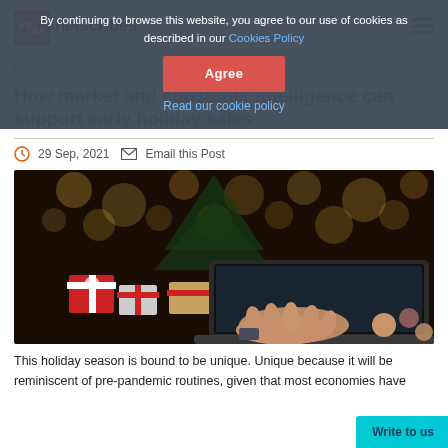netscribes — Business Intelligence
By continuing to browse this website, you agree to our use of cookies as described in our Cookies Policy
Agree
Read our cookie policy
home > blog
How market and consumer intelligence can support early holiday sales
29 Sep, 2021   Email this Post
[Figure (photo): Person typing on a laptop surrounded by wrapped Christmas gifts and bokeh holiday lights in the background]
This holiday season is bound to be unique. Unique because it will be reminiscent of pre-pandemic routines, given that most economies have